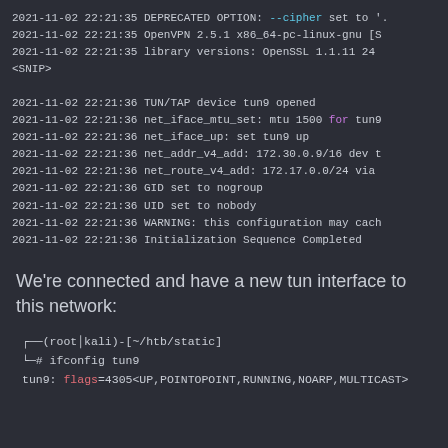[Figure (screenshot): Terminal output showing OpenVPN connection log lines with timestamps 2021-11-02 22:21:35 and 22:21:36, including DEPRECATED OPTION, OpenVPN version, library versions, TUN/TAP device, net interface commands, GID/UID settings, WARNING, and Initialization Sequence Completed.]
We're connected and have a new tun interface to this network:
[Figure (screenshot): Terminal showing bash prompt (root@kali)-[~/htb/static] with command 'ifconfig tun9' and output line 'tun9: flags=4305<UP,POINTOPOINT,RUNNING,NOARP,MULTICAST>']